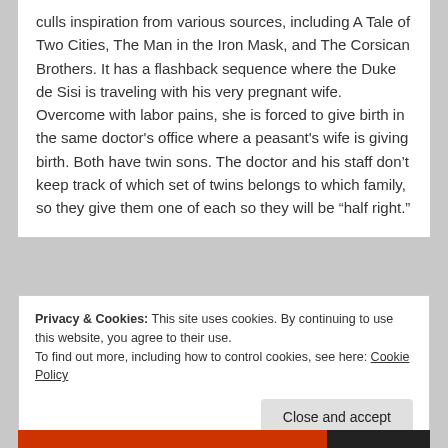culls inspiration from various sources, including A Tale of Two Cities, The Man in the Iron Mask, and The Corsican Brothers. It has a flashback sequence where the Duke de Sisi is traveling with his very pregnant wife. Overcome with labor pains, she is forced to give birth in the same doctor's office where a peasant's wife is giving birth. Both have twin sons. The doctor and his staff don't keep track of which set of twins belongs to which family, so they give them one of each so they will be “half right.”
Privacy & Cookies: This site uses cookies. By continuing to use this website, you agree to their use.
To find out more, including how to control cookies, see here: Cookie Policy